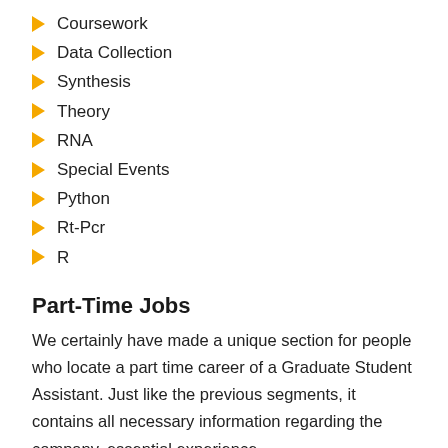Coursework
Data Collection
Synthesis
Theory
RNA
Special Events
Python
Rt-Pcr
R
Part-Time Jobs
We certainly have made a unique section for people who locate a part time career of a Graduate Student Assistant. Just like the previous segments, it contains all necessary information regarding the company, essential experience,